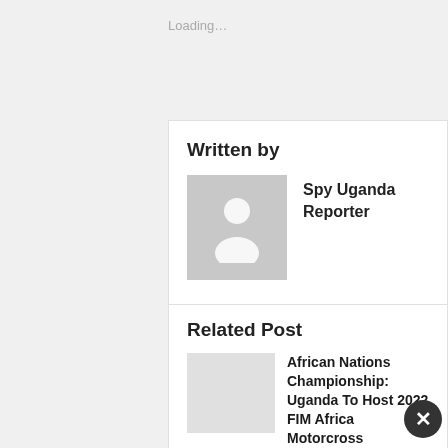Loading...
Written by
[Figure (illustration): Generic gray avatar placeholder with person silhouette icon]
Spy Uganda Reporter
Related Post
[Figure (illustration): Gray thumbnail placeholder for related post image]
African Nations Championship: Uganda To Host 2022 FIM Africa Motorcross
SHARING IS CARING By Spy Uganda Uganda is set to host the 2022 FIM Africa...